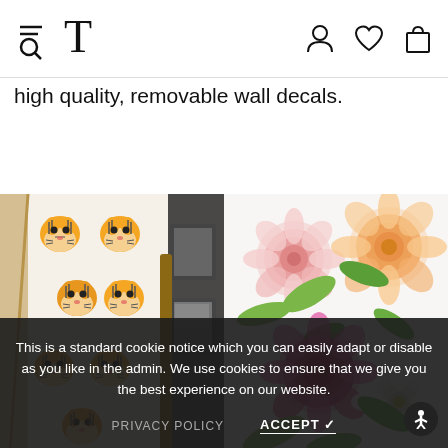T [navigation bar with hamburger menu, search, logo T, user icon, wishlist icon, cart icon]
high quality, removable wall decals.
[Figure (photo): Left: Room with tiger face emoji-style wall decals on white wall with tent/teepee. Right: Floral wall decals with pink, peach, and white flowers with green leaves on white wall.]
This is a standard cookie notice which you can easily adapt or disable as you like in the admin. We use cookies to ensure that we give you the best experience on our website.
PRIVACY POLICY   ACCEPT ✓